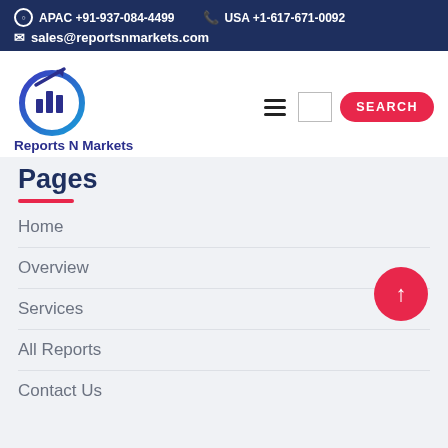APAC +91-937-084-4499   USA +1-617-671-0092   sales@reportsnmarkets.com
[Figure (logo): Reports N Markets logo with bar chart and upward arrow inside a blue circle gradient]
Reports N Markets
Pages
Home
Overview
Services
All Reports
Contact Us